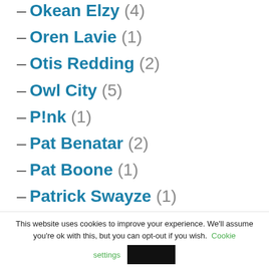– Okean Elzy (4)
– Oren Lavie (1)
– Otis Redding (2)
– Owl City (5)
– P!nk (1)
– Pat Benatar (2)
– Pat Boone (1)
– Patrick Swayze (1)
This website uses cookies to improve your experience. We'll assume you're ok with this, but you can opt-out if you wish. Cookie settings [Accept]